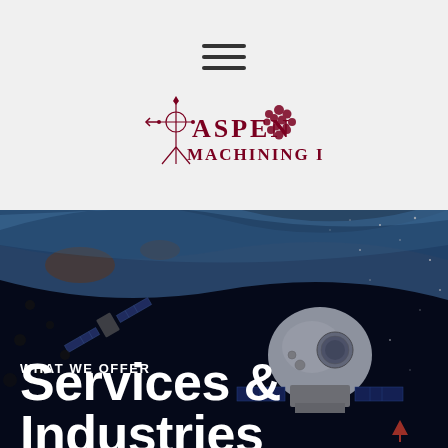[Figure (logo): Aspen Machining Inc. logo with compass and leaf graphic in dark red/maroon color, stylized text reading ASPEN MACHINING INC.]
WHAT WE OFFER
Services & Industries
[Figure (photo): Space scene showing a spacecraft/capsule in orbit above Earth with satellites and stars in the dark background]